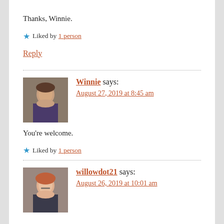Thanks, Winnie.
★ Liked by 1 person
Reply
Winnie says: August 27, 2019 at 8:45 am
You're welcome.
★ Liked by 1 person
willowdot21 says: August 26, 2019 at 10:01 am